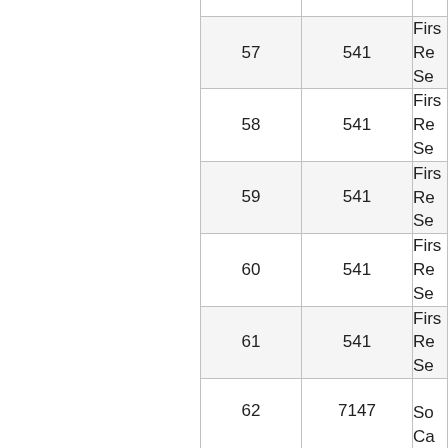|  | 541 | Firs... Re... Se... |
| --- | --- | --- |
| 57 | 541 | Firs...
Re...
Se... |
| 58 | 541 | Firs...
Re...
Se... |
| 59 | 541 | Firs...
Re...
Se... |
| 60 | 541 | Firs...
Re...
Se... |
| 61 | 541 | Firs...
Re...
Se... |
| 62 | 7147 | So...
Ca...
Co... |